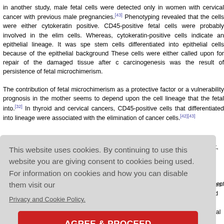in another study, male fetal cells were detected only in women with cervical cancer with previous male pregnancies.[43] Phenotyping revealed that the cells were either cytokeratin positive. CD45-positive fetal cells were probably involved in the elimination of cancer cells. Whereas, cytokeratin-positive cells indicate an epithelial lineage. It was speculated that stem cells differentiated into epithelial cells because of the epithelial background of the cervix. These cells were either called upon for repair of the damaged tissue after cervicitis, or carcinogenesis was the result of persistence of fetal microchimerism.
The contribution of fetal microchimerism as a protective factor or a vulnerability factor for prognosis in the mother seems to depend upon the cell lineage that the fetal cells differentiated into.[32] In thyroid and cervical cancers, CD45-positive cells that differentiated into the immune lineage were associated with the elimination of cancer cells.[42][43] In breast, thyroid... ) and epithe... nvironment... lamaged tis... ndothelial ce...
This website uses cookies. By continuing to use this website you are giving consent to cookies being used. For information on cookies and how you can disable them visit our Privacy and Cookie Policy. AGREE & PROCEED
ites